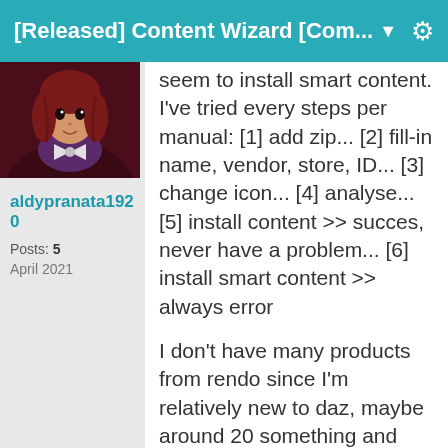[Released] Content Wizard [Com... ▼
[Figure (photo): Anime character avatar — figure with dark red/purple cloak and white accents]
aldypranata1920
Posts: 5
April 2021
seem to install smart content. I've tried every steps per manual: [1] add zip... [2] fill-in name, vendor, store, ID... [3] change icon... [4] analyse... [5] install content >> succes, never have a problem... [6] install smart content >> always error
I don't have many products from rendo since I'm relatively new to daz, maybe around 20 something and they are mostly clothing, so I don't have many product to test. I've tried at least half of them and none of them